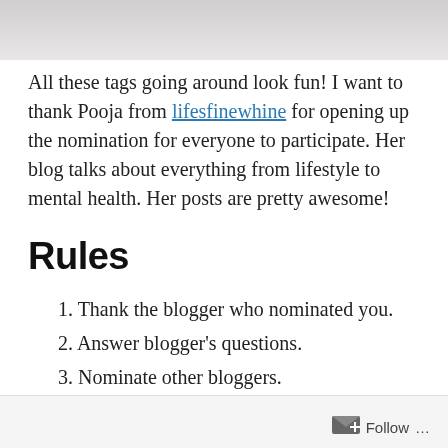[Figure (photo): Top portion of a photo, showing a light gray/beige surface, cropped at top of page]
All these tags going around look fun! I want to thank Pooja from lifesfinewhine for opening up the nomination for everyone to participate. Her blog talks about everything from lifestyle to mental health. Her posts are pretty awesome!
Rules
1. Thank the blogger who nominated you.
2. Answer blogger's questions.
3. Nominate other bloggers.
Questions
Follow